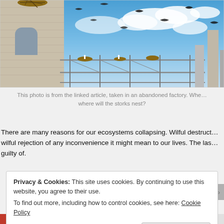[Figure (photo): Photo of storks nesting on an abandoned factory building with scaffolding, blue sky with white clouds, and birds flying overhead.]
This photo is from the linked article, taken in an abandoned factory. Whe... where will the storks nest?
There are many reasons for our ecosystems collapsing. Wilful destruct... wilful rejection of any inconvenience it might mean to our lives. The las... guilty of.
Privacy & Cookies: This site uses cookies. By continuing to use this website, you agree to their use.
To find out more, including how to control cookies, see here: Cookie Policy
Close and accept